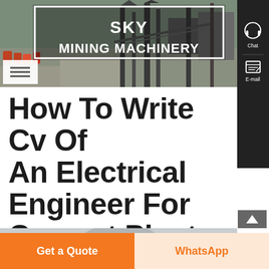[Figure (photo): Sky Mining Machinery website header with industrial mining equipment/machinery photo in background and white-bordered logo box containing the company name]
How To Write Cv Of An Electrical Engineer For Cement Plant
[Figure (photo): Partial photo of a person visible at the bottom of the article header area]
Get a Quote
WhatsApp